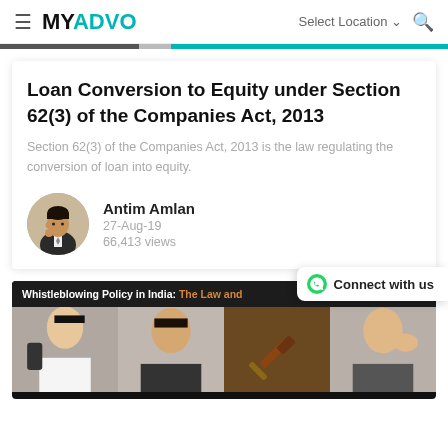MYADVO — Select Location
Loan Conversion to Equity under Section 62(3) of the Companies Act, 2013
Section 62(3) of the Companies Act, 2013 is the law regulating the conversion of loan into equity.
Antim Amlan
27-Aug-19
66,413 views
[Figure (screenshot): Website banner showing whistleblowing policy article with collage of related photos below text 'Whistleblowing Policy in India: The Law and ...']